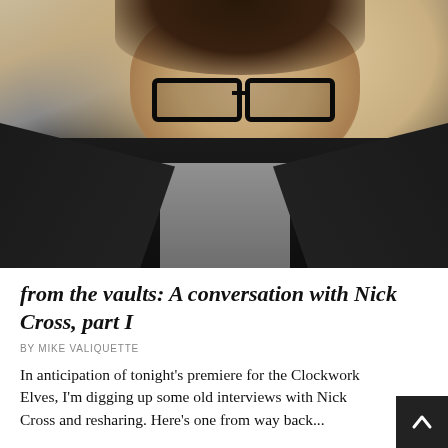[Figure (photo): Portrait photo of a young man with dark-rimmed glasses, messy brown hair, wearing a dark hoodie over a gray t-shirt, smiling slightly at the camera against a warm beige background.]
from the vaults: A conversation with Nick Cross, part I
BY MIKE VALIQUETTE
In anticipation of tonight's premiere for the Clockwork Elves, I'm digging up some old interviews with Nick Cross and resharing. Here's one from way back...